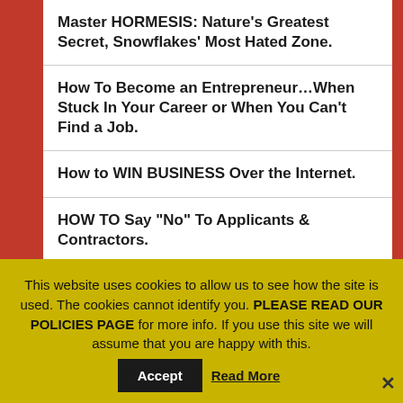Master HORMESIS: Nature’s Greatest Secret, Snowflakes’ Most Hated Zone.
How To Become an Entrepreneur…When Stuck In Your Career or When You Can’t Find a Job.
How to WIN BUSINESS Over the Internet.
HOW TO Say “No” To Applicants & Contractors.
Single-Most Important Reason Why YOUR LIFE SUCKS!
Wanna KNOW How Long You’ll Live? Science Will Tell
This website uses cookies to allow us to see how the site is used. The cookies cannot identify you. PLEASE READ OUR POLICIES PAGE for more info. If you use this site we will assume that you are happy with this.
Share This